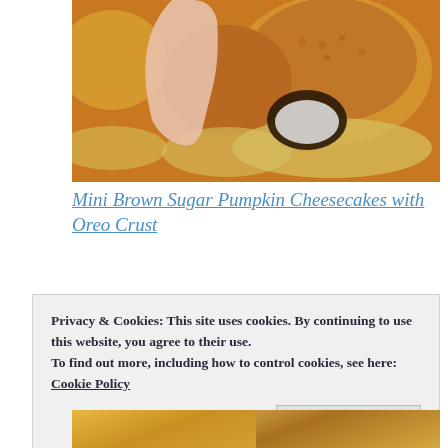[Figure (photo): Photo of mini pumpkin cheesecakes with orange/golden tops in foil wrappers, with a hand holding one up to show the inside with dark Oreo crust]
Mini Brown Sugar Pumpkin Cheesecakes with Oreo Crust
[Figure (photo): Two side-by-side food photos: left shows a dark skillet with chopped green vegetables and mushrooms; right shows a foil pan of golden-brown crumbled stuffing with nuts and raisins]
Privacy & Cookies: This site uses cookies. By continuing to use this website, you agree to their use.
To find out more, including how to control cookies, see here: Cookie Policy
Close and accept
[Figure (photo): Bottom row of food photos partially visible]